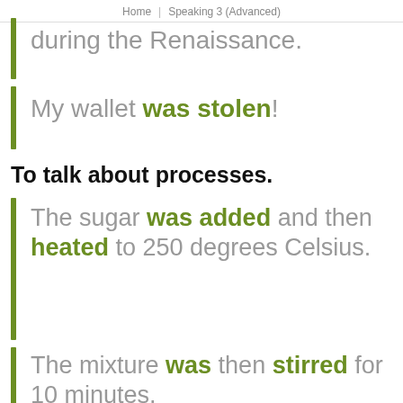Home | Speaking 3 (Advanced)
during the Renaissance.
My wallet was stolen!
To talk about processes.
The sugar was added and then heated to 250 degrees Celsius.
The mixture was then stirred for 10 minutes.